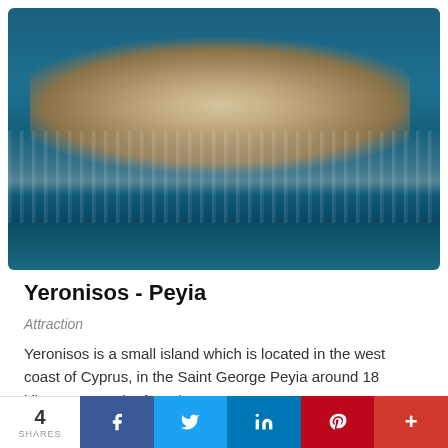[Figure (photo): Aerial drone view of Yeronisos island off the west coast of Cyprus, surrounded by deep blue Mediterranean sea water with white foam waves crashing against the rocky coastline.]
Yeronisos - Peyia
Attraction
Yeronisos is a small island which is located in the west coast of Cyprus, in the Saint George Peyia around 18 kilometres north of Papho...
4 SHARES  f  Twitter  in  Pinterest  +